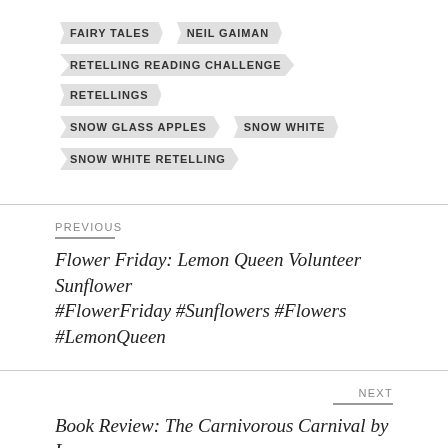FAIRY TALES
NEIL GAIMAN
RETELLING READING CHALLENGE
RETELLINGS
SNOW GLASS APPLES
SNOW WHITE
SNOW WHITE RETELLING
PREVIOUS
Flower Friday: Lemon Queen Volunteer Sunflower #FlowerFriday #Sunflowers #Flowers #LemonQueen
NEXT
Book Review: The Carnivorous Carnival by Lemony